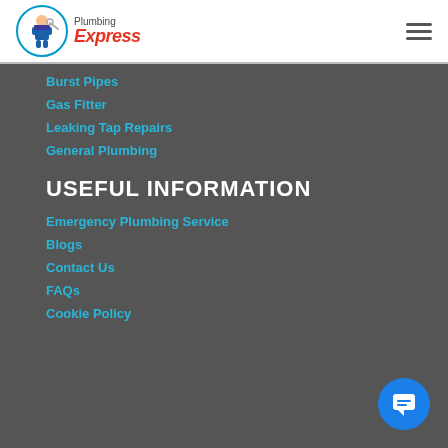[Figure (logo): Plumbing Express logo with cartoon plumber icon, blue circle, red italic Express text]
Burst Pipes
Gas Fitter
Leaking Tap Repairs
General Plumbing
USEFUL INFORMATION
Emergency Plumbing Service
Blogs
Contact Us
FAQs
Cookie Policy